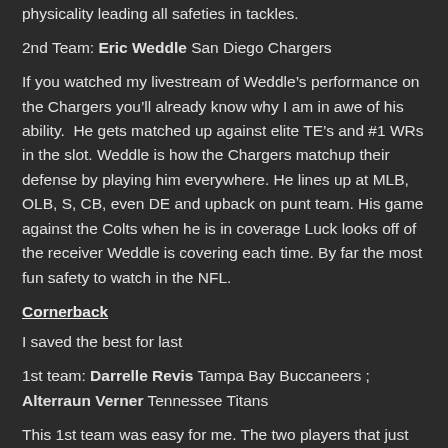physicality leading all safeties in tackles.
2nd Team: Eric Weddle San Diego Chargers
If you watched my livestream of Weddle’s performance on the Chargers you’ll already know why I am in awe of his ability.  He gets matched up against elite TE’s and #1 WRs in the slot. Weddle is how the Chargers matchup their defense by playing him everywhere. He lines up at MLB, OLB, S, CB, even DE and upback on punt team. His game against the Colts when he is in coverage Luck looks off of the receiver Weddle is covering each time. By far the most fun safety to watch in the NFL.
Cornerback
I saved the best for last
1st team: Darrelle Revis Tampa Bay Buccaneers ; Alterraun Verner Tennessee Titans
This 1st team was easy for me. The two players that just blew up on tape more than any other corner. Revis did not have that burst he had while with the Jets and was used in